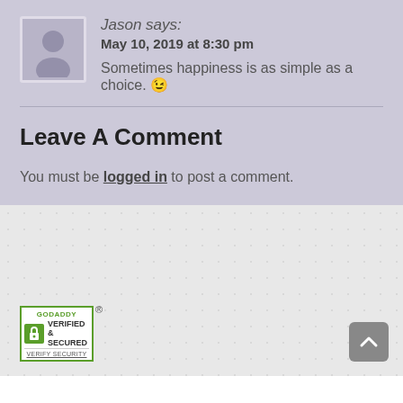Jason says:
May 10, 2019 at 8:30 pm
Sometimes happiness is as simple as a choice. 😉
Leave A Comment
You must be logged in to post a comment.
[Figure (logo): GoDaddy Verified & Secured badge with lock icon and Verify Security text]
[Figure (other): Back to top arrow button (grey rounded square with upward chevron)]